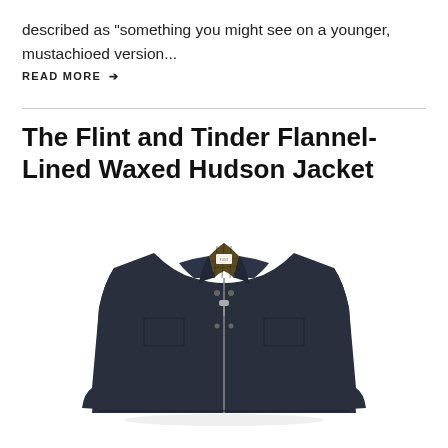described as “something you might see on a younger, mustachioed version...
READ MORE →
The Flint and Tinder Flannel-Lined Waxed Hudson Jacket
[Figure (photo): A navy/dark blue waxed canvas jacket with flannel plaid lining visible at the collar, shown flat on a white background. The jacket has a zip front, snap buttons, and a spread collar.]